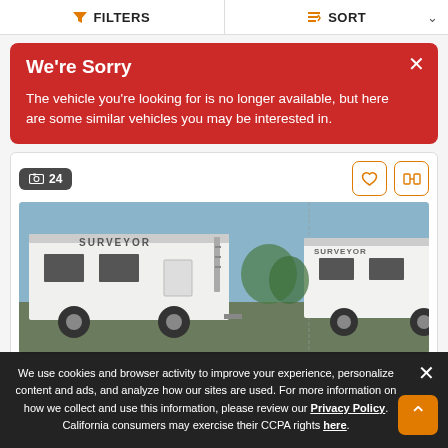FILTERS   SORT
We're Sorry
The vehicle you're looking for is no longer available, but here are some similar vehicles you may be interested in.
[Figure (photo): RV listing card showing two travel trailers (Surveyor brand) parked outdoors with blue sky background. A photo count badge shows '24' in the top-left corner, and action buttons (heart/favorite, compare) are in the top-right.]
We use cookies and browser activity to improve your experience, personalize content and ads, and analyze how our sites are used. For more information on how we collect and use this information, please review our Privacy Policy. California consumers may exercise their CCPA rights here.